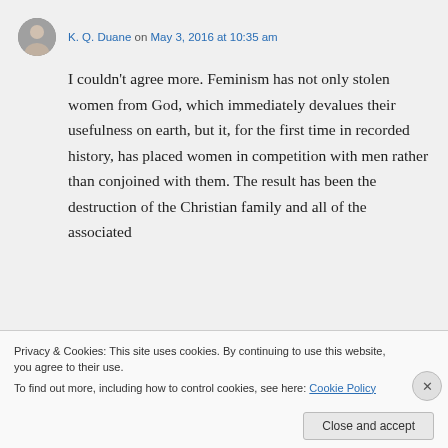K. Q. Duane on May 3, 2016 at 10:35 am
I couldn't agree more. Feminism has not only stolen women from God, which immediately devalues their usefulness on earth, but it, for the first time in recorded history, has placed women in competition with men rather than conjoined with them. The result has been the destruction of the Christian family and all of the associated
Privacy & Cookies: This site uses cookies. By continuing to use this website, you agree to their use. To find out more, including how to control cookies, see here: Cookie Policy
Close and accept